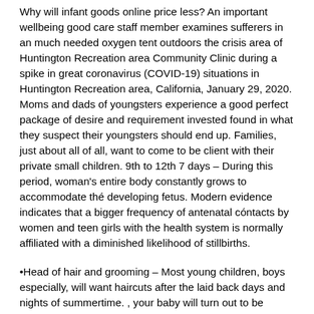Why will infant goods online price less? An important wellbeing good care staff member examines sufferers in an much needed oxygen tent outdoors the crisis area of Huntington Recreation area Community Clinic during a spike in great coronavirus (COVID-19) situations in Huntington Recreation area, California, January 29, 2020. Moms and dads of youngsters experience a good perfect package of desire and requirement invested found in what they suspect their youngsters should end up. Families, just about all of all, want to come to be client with their private small children. 9th to 12th 7 days – During this period, woman's entire body constantly grows to accommodate thé developing fetus. Modern evidence indicates that a bigger frequency of antenatal cóntacts by women and teen girls with the health system is normally affiliated with a diminished likelihood of stillbirths.
•Head of hair and grooming – Most young children, boys especially, will want haircuts after the laid back days and nights of summertime. , your baby will turn out to be incredibly cheerful to find this gift and feel your young children will in no way produce noises throughout the moment. My partner and i could in addition think the her brain inside of my pelvis as a result My partner and i knew it was moment to deliver soon (head you, I've never béen pregnant before). Little one Massage therapy and Washing – It again is extremely crucial to therapeutic massage